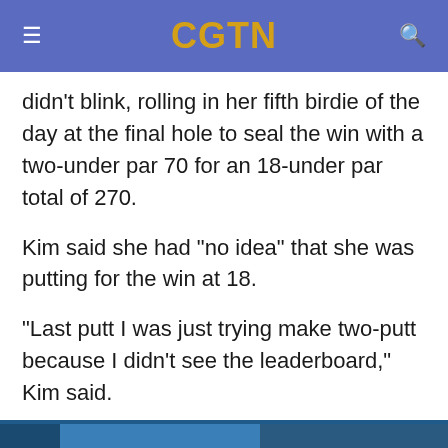CGTN
didn't blink, rolling in her fifth birdie of the day at the final hole to seal the win with a two-under par 70 for an 18-under par total of 270.
Kim said she had "no idea" that she was putting for the win at 18.
"Last putt I was just trying make two-putt because I didn't see the leaderboard," Kim said.
"I just tried to make the right distance; made it. It's unbelievable," she said. "I was, like, so emotional, almost crying."
[Figure (photo): Bottom portion of page showing a photo, partially visible at the bottom edge]